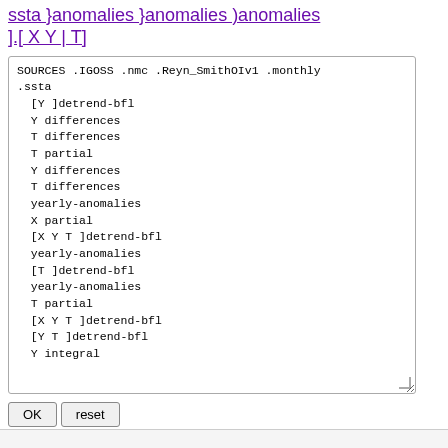ssta }anomalies }anomalies )anomalies ].[ X Y | T]
SOURCES .IGOSS .nmc .Reyn_SmithOIv1 .monthly
.ssta
  [Y ]detrend-bfl
  Y differences
  T differences
  T partial
  Y differences
  T differences
  yearly-anomalies
  X partial
  [X Y T ]detrend-bfl
  yearly-anomalies
  [T ]detrend-bfl
  yearly-anomalies
  T partial
  [X Y T ]detrend-bfl
  [Y T ]detrend-bfl
  Y integral